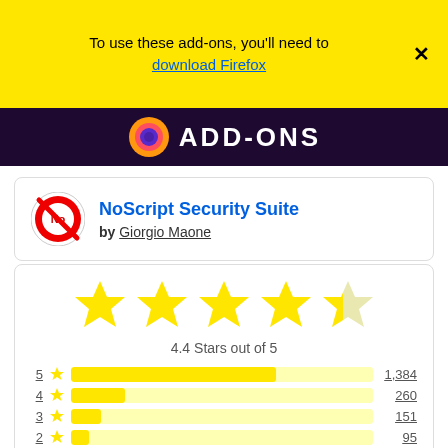To use these add-ons, you'll need to download Firefox
[Figure (screenshot): Firefox Add-ons header banner with Firefox logo and ADD-ONS text on dark purple background]
NoScript Security Suite by Giorgio Maone
[Figure (infographic): 4.4 Stars out of 5 rating display with 5 yellow stars (last partially filled)]
4.4 Stars out of 5
5 ★ 1,384
4 ★ 260
3 ★ 151
2 ★ 95